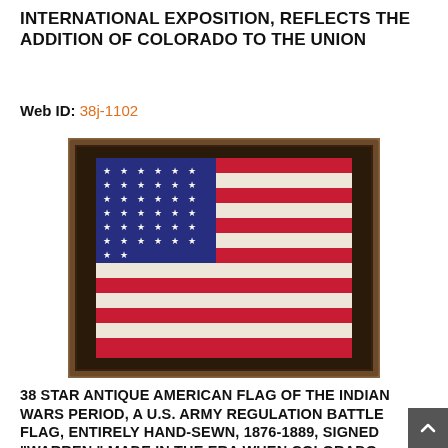INTERNATIONAL EXPOSITION, REFLECTS THE ADDITION OF COLORADO TO THE UNION
Web ID: 38j-1102
[Figure (photo): Framed 38-star antique American flag displayed in a dark wooden shadow box frame. The flag shows the canton with rows of white stars on a blue field, and red and white horizontal stripes. The flag appears hand-sewn and is slightly gathered/draped.]
38 STAR ANTIQUE AMERICAN FLAG OF THE INDIAN WARS PERIOD, A U.S. ARMY REGULATION BATTLE FLAG, ENTIRELY HAND-SEWN, 1876-1889, SIGNED "WARREN," MADE IN THE ERA WHEN COLORADO WAS...